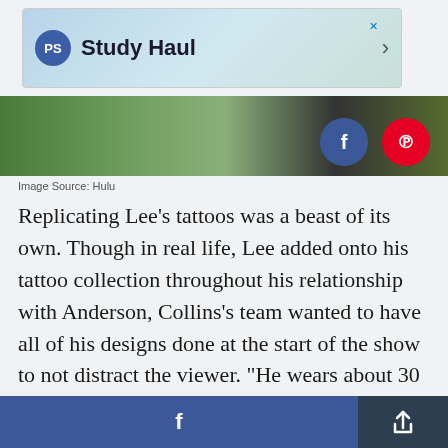[Figure (screenshot): Advertisement banner for 'Study Haul' with PS logo and gradient background]
[Figure (photo): Partial image strip showing greenery and a person, partially cropped]
Image Source: Hulu
Replicating Lee's tattoos was a beast of its own. Though in real life, Lee added onto his tattoo collection throughout his relationship with Anderson, Collins's team wanted to have all of his designs done at the start of the show to not distract the viewer. "He wears about 30 to 35 tattoos, and it's a daily process of application on him," Collins says. Application of these special long-wearing tattoos includes printing the designs